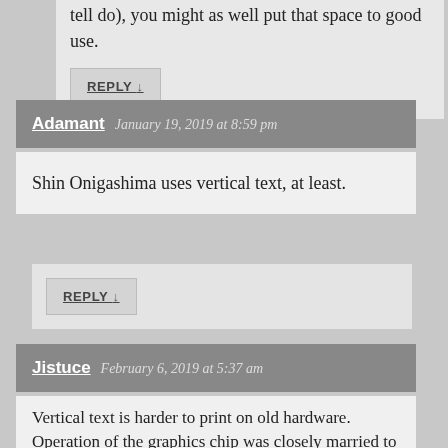tell do), you might as well put that space to good use.
REPLY ↓
Adamant   January 19, 2019 at 8:59 pm
Shin Onigashima uses vertical text, at least.
REPLY ↓
Jistuce   February 6, 2019 at 5:37 am
Vertical text is harder to print on old hardware. Operation of the graphics chip was closely married to the scan of the display, which was left-to-right. This cascades down into the layout of characters in RAM. To print a line horizontally, you just fill